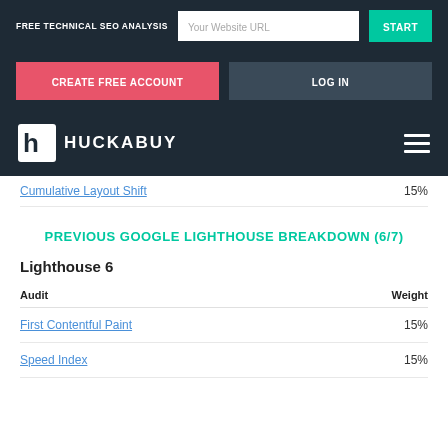FREE TECHNICAL SEO ANALYSIS  Your Website URL  START
CREATE FREE ACCOUNT  LOG IN
[Figure (logo): Huckabuy logo with H icon and HUCKABUY text, and hamburger menu icon]
Cumulative Layout Shift  15%
PREVIOUS GOOGLE LIGHTHOUSE BREAKDOWN (6/7)
Lighthouse 6
| Audit | Weight |
| --- | --- |
| First Contentful Paint | 15% |
| Speed Index | 15% |
Cumulative Layout Shift  15%